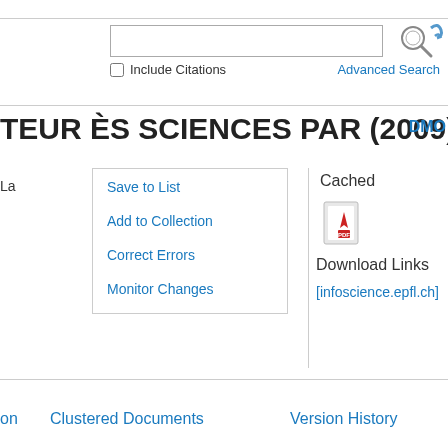Include Citations
Advanced Search
TEUR ÈS SCIENCES PAR (2009)
DMO
La
Save to List
Add to Collection
Correct Errors
Monitor Changes
Cached
Download Links
[infoscience.epfl.ch]
on
Clustered Documents
Version History